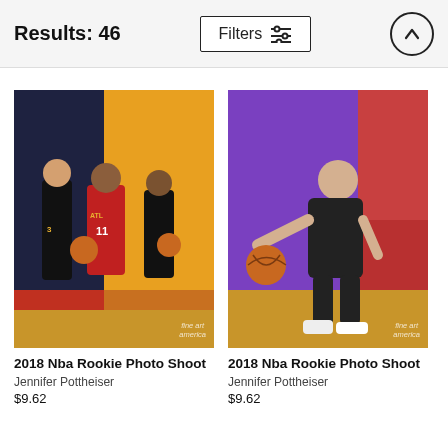Results: 46
Filters
[Figure (photo): 2018 NBA Rookie Photo Shoot - three Atlanta Hawks players in uniform posing with basketballs against a dark blue and gold background. Jennifer Pottheiser / fineart america.]
2018 Nba Rookie Photo Shoot
Jennifer Pottheiser
$9.62
[Figure (photo): 2018 NBA Rookie Photo Shoot - single player in dark uniform bending down dribbling a basketball against purple, red, and wood-floor background. Jennifer Pottheiser / fineart america.]
2018 Nba Rookie Photo Shoot
Jennifer Pottheiser
$9.62